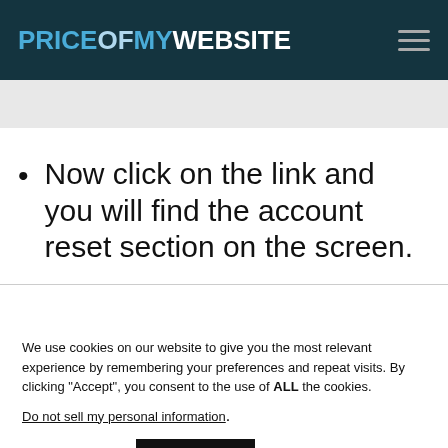PRICEOFMYWEBSITE
Now click on the link and you will find the account reset section on the screen.
We use cookies on our website to give you the most relevant experience by remembering your preferences and repeat visits. By clicking “Accept”, you consent to the use of ALL the cookies.
Do not sell my personal information.
Cookie settings   ACCEPT